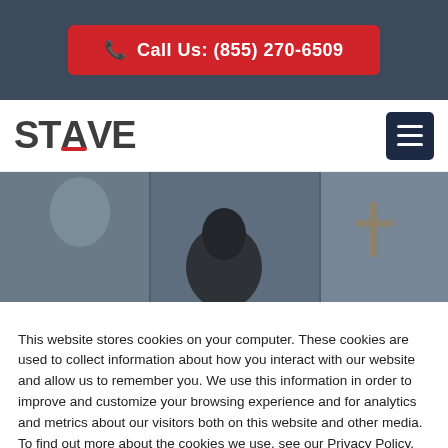Call Us: (855) 270-6509
[Figure (logo): STAVE company logo with red accent under the letter A]
[Figure (photo): Hero image showing a person from behind in an indoor setting with ambient lighting]
This website stores cookies on your computer. These cookies are used to collect information about how you interact with our website and allow us to remember you. We use this information in order to improve and customize your browsing experience and for analytics and metrics about our visitors both on this website and other media. To find out more about the cookies we use, see our Privacy Policy.
Accept